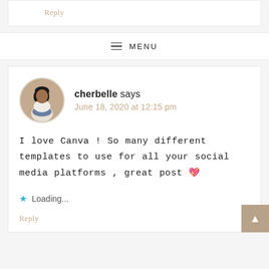Reply
≡ MENU
[Figure (photo): Circular avatar photo of user cherbelle, a young woman posing in white top and jeans]
cherbelle says
June 18, 2020 at 12:15 pm
I love Canva ! So many different templates to use for all your social media platforms , great post 💖
★ Loading...
Reply